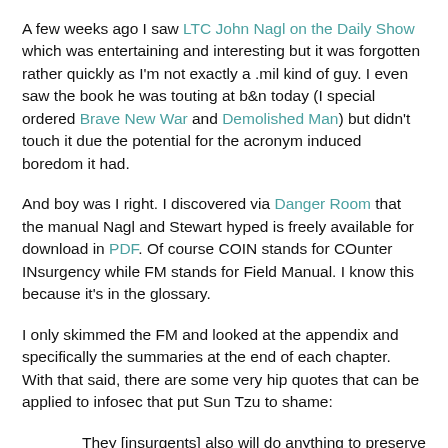A few weeks ago I saw LTC John Nagl on the Daily Show which was entertaining and interesting but it was forgotten rather quickly as I'm not exactly a .mil kind of guy. I even saw the book he was touting at b&n today (I special ordered Brave New War and Demolished Man) but didn't touch it due the potential for the acronym induced boredom it had.
And boy was I right. I discovered via Danger Room that the manual Nagl and Stewart hyped is freely available for download in PDF. Of course COIN stands for COunter INsurgency while FM stands for Field Manual. I know this because it's in the glossary.
I only skimmed the FM and looked at the appendix and specifically the summaries at the end of each chapter. With that said, there are some very hip quotes that can be applied to infosec that put Sun Tzu to shame:
They [insurgents] also will do anything to preserve their greatest advantage, the ability to hide among the people. These amoral and often